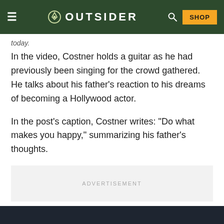OUTSIDER
today.
In the video, Costner holds a guitar as he had previously been singing for the crowd gathered. He talks about his father’s reaction to his dreams of becoming a Hollywood actor.
In the post’s caption, Costner writes: “Do what makes you happy,” summarizing his father’s thoughts.
ADVERTISEMENT